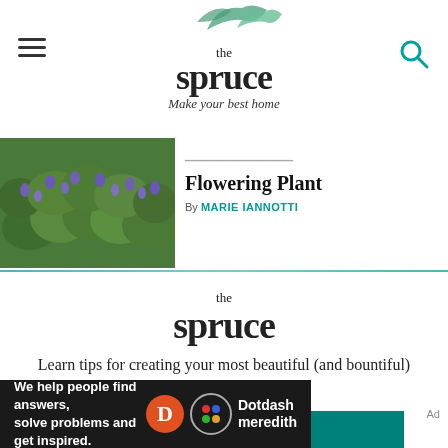the spruce — Make your best home
[Figure (photo): Green leafy flowering plant with purple/blue flowers, dense foliage]
Flowering Plant
By MARIE IANNOTTI
[Figure (logo): The Spruce logo — 'the spruce' in serif font]
Learn tips for creating your most beautiful (and bountiful) garden ever.
INSTANT SUBSCRIBE
We help people find answers, solve problems and get inspired.
[Figure (logo): Dotdash Meredith logo with D circle and colorful dots circle]